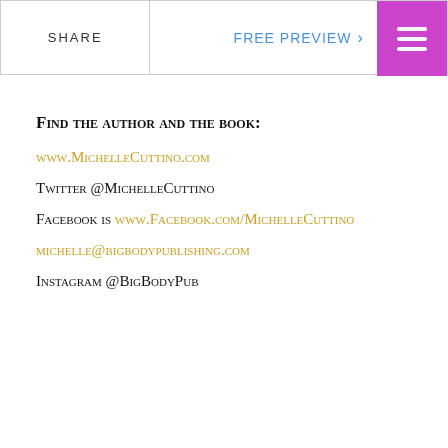SHARE | FREE PREVIEW >
Find the author and the book:
www.MichelleCuttino.com
Twitter @MichelleCuttino
Facebook is www.Facebook.com/MichelleCuttino
michelle@bigbodypublishing.com
Instagram @BigBodyPub